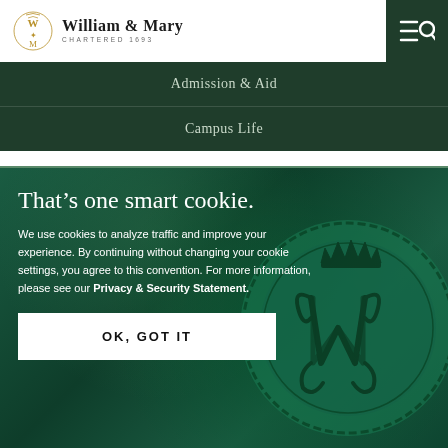[Figure (logo): William & Mary logo with decorative monogram emblem and text 'William & Mary, Chartered 1693']
Admission & Aid
Campus Life
[Figure (illustration): Dark green textured background with William & Mary wax seal showing royal cypher with crown]
That’s one smart cookie.
We use cookies to analyze traffic and improve your experience. By continuing without changing your cookie settings, you agree to this convention. For more information, please see our Privacy & Security Statement.
OK, GOT IT